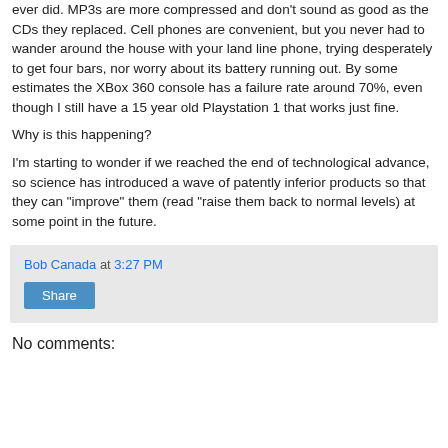ever did. MP3s are more compressed and don't sound as good as the CDs they replaced. Cell phones are convenient, but you never had to wander around the house with your land line phone, trying desperately to get four bars, nor worry about its battery running out. By some estimates the XBox 360 console has a failure rate around 70%, even though I still have a 15 year old Playstation 1 that works just fine.
Why is this happening?
I'm starting to wonder if we reached the end of technological advance, so science has introduced a wave of patently inferior products so that they can "improve" them (read "raise them back to normal levels) at some point in the future.
Bob Canada at 3:27 PM
Share
No comments: